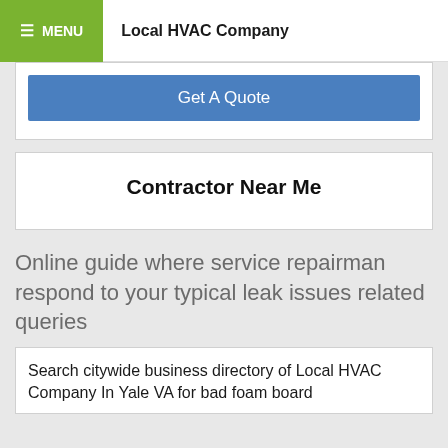MENU | Local HVAC Company
Get A Quote
Contractor Near Me
Online guide where service repairman respond to your typical leak issues related queries
Search citywide business directory of Local HVAC Company In Yale VA for bad foam board